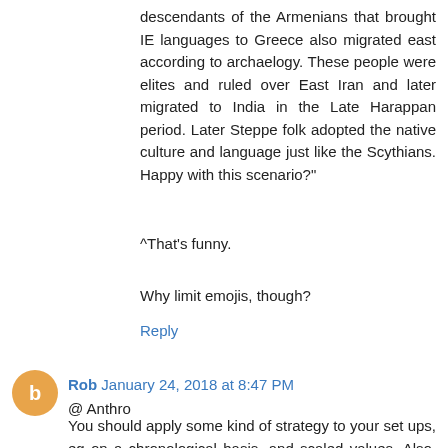descendants of the Armenians that brought IE languages to Greece also migrated east according to archaelogy. These people were elites and ruled over East Iran and later migrated to India in the Late Harappan period. Later Steppe folk adopted the native culture and language just like the Scythians. Happy with this scenario?"
^That's funny.
Why limit emojis, though?
Reply
Rob January 24, 2018 at 8:47 PM
@ Anthro
You should apply some kind of strategy to your set ups, eg on a chronological basis, and scaled values. Also, use either the best quality individuals, or an average (so you don;t have 3 different "Yamnayas' appearing in your results)